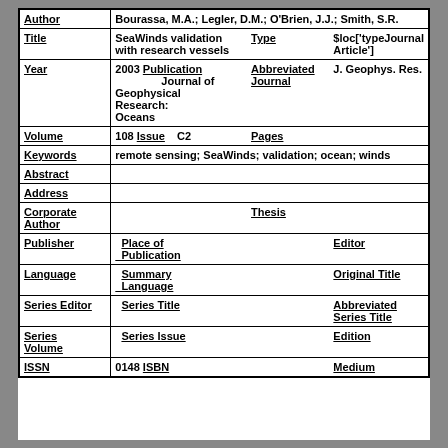| Author | Bourassa, M.A.; Legler, D.M.; O'Brien, J.J.; Smith, S.R. |  |  |
| Title | SeaWinds validation with research vessels | Type | $loc['typeJournal Article'] |
| Year | 2003 | Publication | Journal of Geophysical Research: Oceans | Abbreviated Journal | J. Geophys. Res. |
| Volume | 108 | Issue | C2 | Pages |  |
| Keywords | remote sensing; SeaWinds; validation; ocean; winds |  |  |
| Abstract |  |  |  |
| Address |  |  |  |
| Corporate Author |  |  | Thesis |  |
| Publisher |  | Place of Publication |  | Editor |  |
| Language |  | Summary Language |  | Original Title |  |
| Series Editor |  | Series Title |  | Abbreviated Series Title |  |
| Series Volume |  | Series Issue |  | Edition |  |
| ISSN | 0148 | ISBN |  | Medium |  |